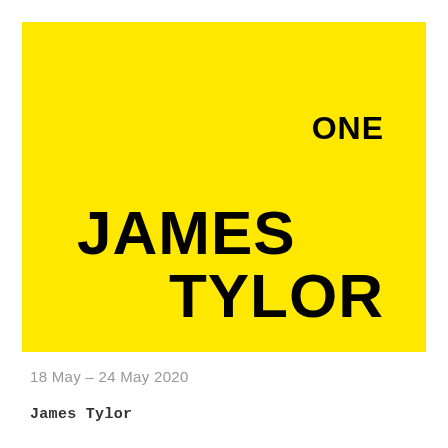[Figure (illustration): Yellow rectangle containing the text ONE in upper right, JAMES in lower left, and TYLOR in lower right, all in bold black sans-serif on a bright yellow background]
18 May – 24 May 2020
James Tylor